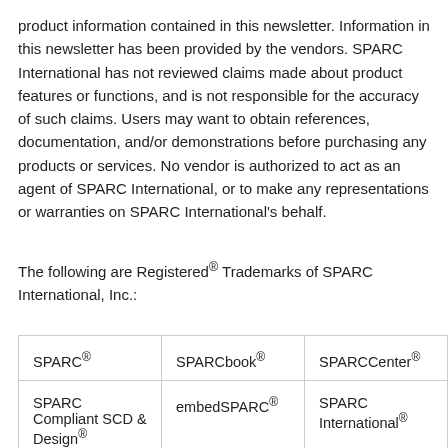product information contained in this newsletter. Information in this newsletter has been provided by the vendors. SPARC International has not reviewed claims made about product features or functions, and is not responsible for the accuracy of such claims. Users may want to obtain references, documentation, and/or demonstrations before purchasing any products or services. No vendor is authorized to act as an agent of SPARC International, or to make any representations or warranties on SPARC International's behalf.
The following are Registered® Trademarks of SPARC International, Inc.:
| SPARC® | SPARCbook® | SPARCCenter® |
| SPARC Compliant SCD & Design® | embedSPARC® | SPARC International® |
| SPARClite® | SPARCprinter® | SPARCserver® |